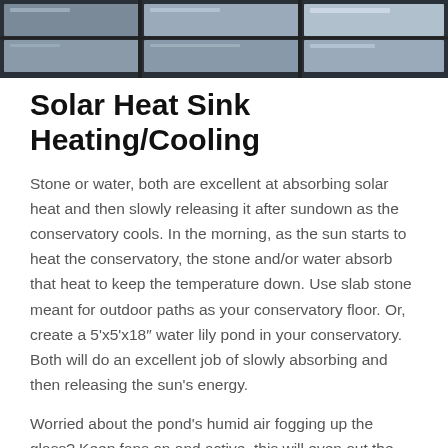[Figure (photo): Close-up photograph of solar panel glass panes or conservatory roof glazing at an angle, dark metallic frame visible]
Solar Heat Sink Heating/Cooling
Stone or water, both are excellent at absorbing solar heat and then slowly releasing it after sundown as the conservatory cools. In the morning, as the sun starts to heat the conservatory, the stone and/or water absorb that heat to keep the temperature down. Use slab stone meant for outdoor paths as your conservatory floor. Or, create a 5'x5'x18″ water lily pond in your conservatory. Both will do an excellent job of slowly absorbing and then releasing the sun’s energy.
Worried about the pond’s humid air fogging up the glass? Keep fans on and active, this will even out the